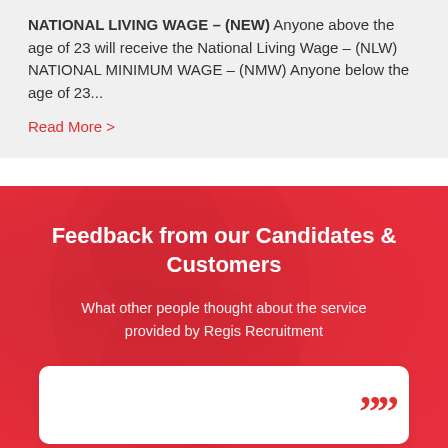NATIONAL LIVING WAGE – (NEW) Anyone above the age of 23 will receive the National Living Wage – (NLW) NATIONAL MINIMUM WAGE – (NMW) Anyone below the age of 23...
Read More >
Feedback from our Candidates & Customers
What other people thought about the service provided by Regis Recruitment